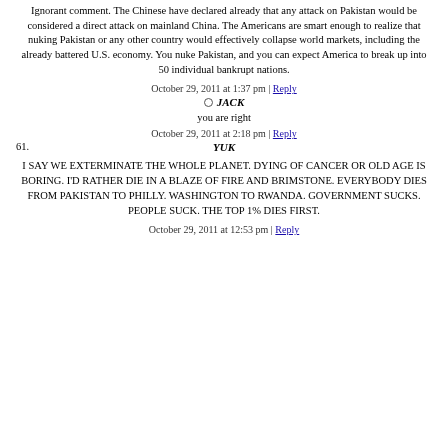Ignorant comment. The Chinese have declared already that any attack on Pakistan would be considered a direct attack on mainland China. The Americans are smart enough to realize that nuking Pakistan or any other country would effectively collapse world markets, including the already battered U.S. economy. You nuke Pakistan, and you can expect America to break up into 50 individual bankrupt nations.
October 29, 2011 at 1:37 pm | Reply
JACK
you are right
October 29, 2011 at 2:18 pm | Reply
61. YUK
I SAY WE EXTERMINATE THE WHOLE PLANET. DYING OF CANCER OR OLD AGE IS BORING. I'D RATHER DIE IN A BLAZE OF FIRE AND BRIMSTONE. EVERYBODY DIES FROM PAKISTAN TO PHILLY. WASHINGTON TO RWANDA. GOVERNMENT SUCKS. PEOPLE SUCK. THE TOP 1% DIES FIRST.
October 29, 2011 at 12:53 pm | Reply